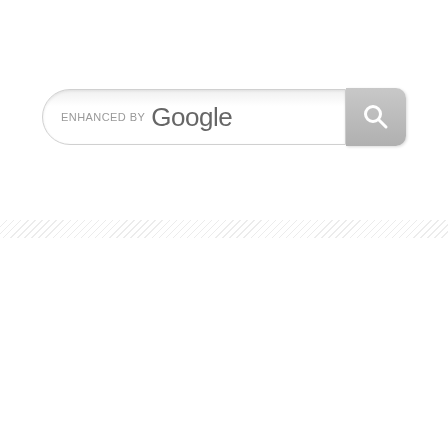[Figure (screenshot): Google custom search bar with 'ENHANCED BY Google' label and a search button with magnifying glass icon, followed by a diagonal hatched divider line below]
ENHANCED BY Google